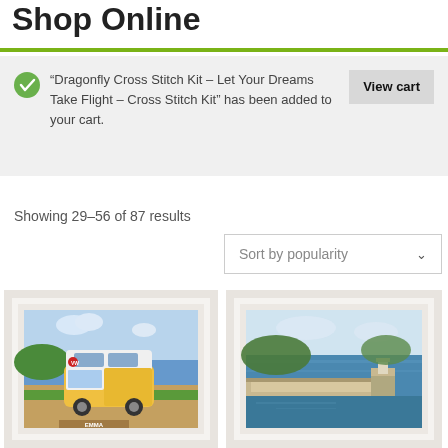Shop Online
“Dragonfly Cross Stitch Kit – Let Your Dreams Take Flight – Cross Stitch Kit” has been added to your cart.
View cart
Showing 29–56 of 87 results
Sort by popularity
[Figure (photo): Framed cross stitch of a yellow VW camper van on a beach scene]
[Figure (photo): Framed cross stitch of a harbor/pier scene with water]